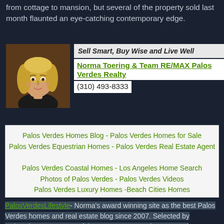from cottage to mansion, but several of the property sold last month flaunted an eye-catching contemporary edge.
[Figure (photo): Portrait photo of a blonde woman (real estate agent Norma Toering)]
Sell Smart, Buy Wise and Live Well
Norma Toering & Team RE/MAX Palos Verdes Realty
(310) 493-8333
Palos Verdes Homes Blog - Palos Verdes Homes for Sale
Palos Verdes Equestrian Homes - Palos Verdes Real Estate Agent
Palos Verdes Coastal Homes - Los Angeles Home Search
Photos of Palos Verdes - Palos Verdes Videos
Palos Verdes Luxury Homes -Beach Cities Homes
PalosVerdesLifestyle- Norma's award winning site as the best Palos Verdes homes and real estate blog since 2007. Selected by Relocation.com as one of the top ten Los Angeles area real